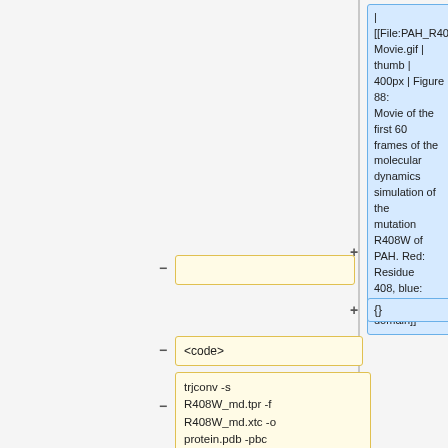| [[File:PAH_R408W_Movie.gif | thumb | 400px | Figure 88: Movie of the first 60 frames of the molecular dynamics simulation of the mutation R408W of PAH. Red: Residue 408, blue: oligomerization domain]]
{}
<code>
trjconv -s R408W_md.tpr -f R408W_md.xtc -o protein.pdb -pbc nojump -dt 10